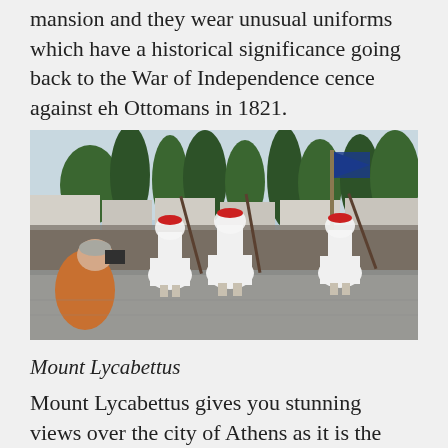mansion and they wear unusual uniforms which have a historical significance going back to the War of Independence cence against eh Ottomans in 1821.
[Figure (photo): Greek Evzone guards performing a ceremonial march in traditional white foustanella uniforms with red berets, carrying rifles, in front of a large crowd in an outdoor plaza with trees and buildings in the background. A person in a brown jacket is photographing them from the foreground.]
Mount Lycabettus
Mount Lycabettus gives you stunning views over the city of Athens as it is the highest point in Athens. You can walk up or take a cable car up Lycabettus hill and there is a little chapel of St. George at the top of the